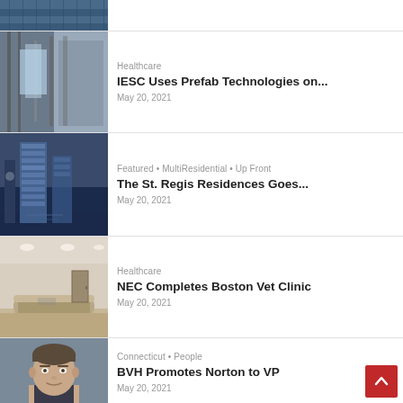[Figure (photo): Partial top of a building photo (glass and steel facade)]
[Figure (photo): Industrial/construction interior with metal framing and glass panels — IESC prefab healthcare article thumbnail]
Healthcare
IESC Uses Prefab Technologies on...
May 20, 2021
[Figure (photo): Modern glass skyscraper at dusk with waterfront — St. Regis Residences article thumbnail]
Featured • MultiResidential • Up Front
The St. Regis Residences Goes...
May 20, 2021
[Figure (photo): Interior of veterinary clinic reception area with curved desk and yellow mat — NEC Boston Vet Clinic article thumbnail]
Healthcare
NEC Completes Boston Vet Clinic
May 20, 2021
[Figure (photo): Headshot of a man with short hair — BVH promotes Norton to VP article thumbnail]
Connecticut • People
BVH Promotes Norton to VP
May 20, 2021